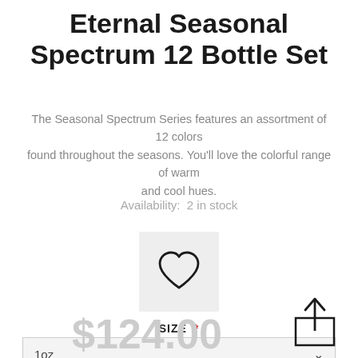Eternal Seasonal Spectrum 12 Bottle Set
The Seasonal Spectrum Series features an assortment of 12 colors found throughout the seasons. You'll love the colorful range of warm and cool hues.
Availability:  2 in stock
[Figure (illustration): Heart icon (outline) centered in a light grey square button]
SIZE *
1oz
$124.00
[Figure (illustration): Share/upload icon: upward arrow inside a box frame, bottom-right corner of the page]